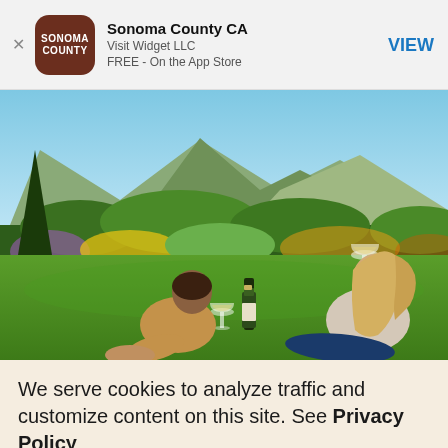[Figure (screenshot): App store banner for Sonoma County CA app by Visit Widget LLC, free on the App Store, with brown rounded square icon showing SONOMA COUNTY text, and a VIEW button on the right.]
[Figure (photo): Outdoor photo of two people sitting on a grassy lawn with wine glasses and a wine bottle, facing green hills and mountains under a blue sky. Lush gardens and trees in the background.]
We serve cookies to analyze traffic and customize content on this site. See Privacy Policy